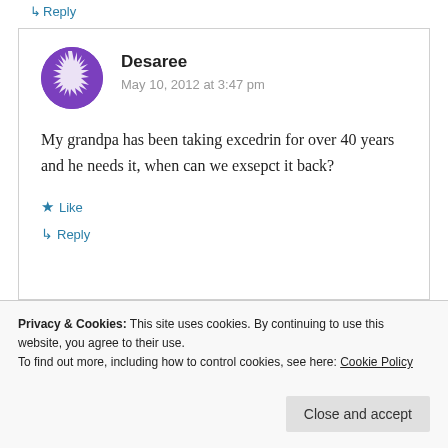↳ Reply
[Figure (illustration): Purple circular avatar with jagged/spiky snowflake-like pattern in white]
Desaree
May 10, 2012 at 3:47 pm
My grandpa has been taking excedrin for over 40 years and he needs it, when can we exsepct it back?
★ Like
↳ Reply
Privacy & Cookies: This site uses cookies. By continuing to use this website, you agree to their use.
To find out more, including how to control cookies, see here: Cookie Policy
Close and accept